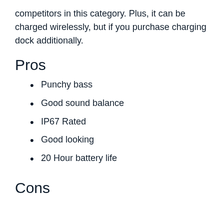competitors in this category. Plus, it can be charged wirelessly, but if you purchase charging dock additionally.
Pros
Punchy bass
Good sound balance
IP67 Rated
Good looking
20 Hour battery life
Cons